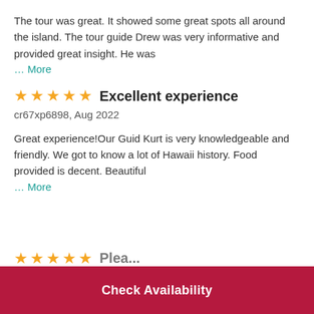The tour was great. It showed some great spots all around the island. The tour guide Drew was very informative and provided great insight. He was ... More
⭐⭐⭐⭐⭐ Excellent experience
cr67xp6898, Aug 2022
Great experience!Our Guid Kurt is very knowledgeable and friendly. We got to know a lot of Hawaii history. Food provided is decent. Beautiful ... More
Check Availability